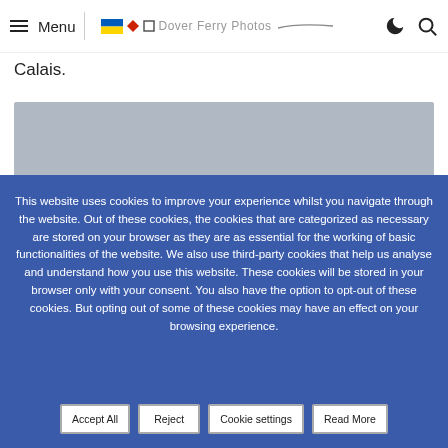Menu | Dover Ferry Photos
Calais.
[Figure (photo): Gray/blue placeholder image of a ferry photo]
This website uses cookies to improve your experience whilst you navigate through the website. Out of these cookies, the cookies that are categorized as necessary are stored on your browser as they are as essential for the working of basic functionalities of the website. We also use third-party cookies that help us analyse and understand how you use this website. These cookies will be stored in your browser only with your consent. You also have the option to opt-out of these cookies. But opting out of some of these cookies may have an effect on your browsing experience.
Accept All
Reject
Cookie settings
Read More